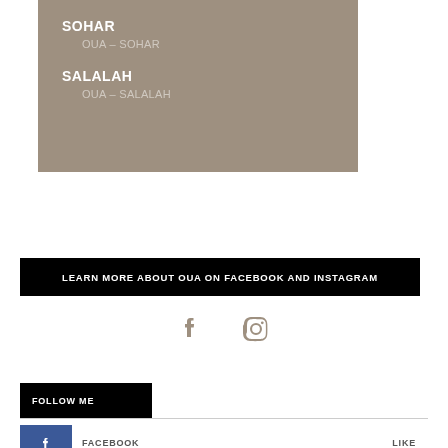SOHAR
OUA – SOHAR
SALALAH
OUA – SALALAH
LEARN MORE ABOUT OUA ON FACEBOOK AND INSTAGRAM
[Figure (illustration): Facebook and Instagram social media icons in tan/brown color]
FOLLOW ME
FACEBOOK LIKE